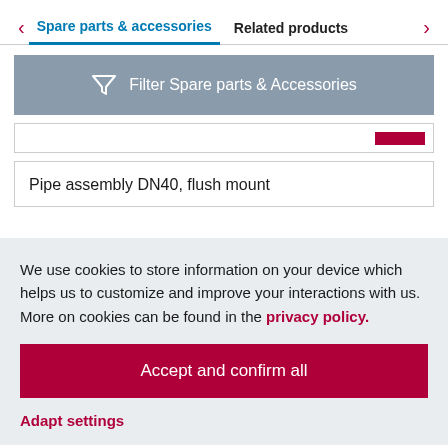Spare parts & accessories | Related products
[Figure (infographic): Filter Spare parts & Accessories button with funnel icon]
Pipe assembly DN40, flush mount
We use cookies to store information on your device which helps us to customize and improve your interactions with us. More on cookies can be found in the privacy policy.
Accept and confirm all
Adapt settings